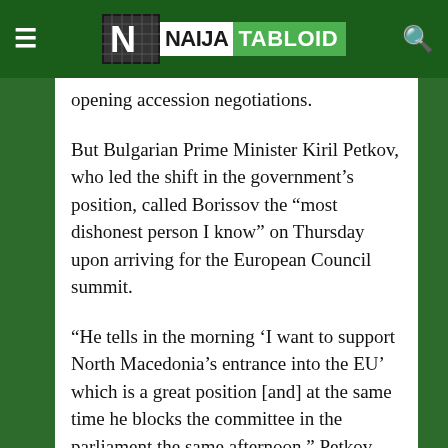Naija Tabloid
opening accession negotiations.
But Bulgarian Prime Minister Kiril Petkov, who led the shift in the government’s position, called Borissov the “most dishonest person I know” on Thursday upon arriving for the European Council summit.
“He tells in the morning ‘I want to support North Macedonia’s entrance into the EU’ which is a great position [and] at the same time he blocks the committee in the parliament the same afternoon,” Petkov said.
European Council President Charles Michel said he was watching “closely” the developments in Bulgaria and said it was a “top priority” to start negotiations with both Albania and North